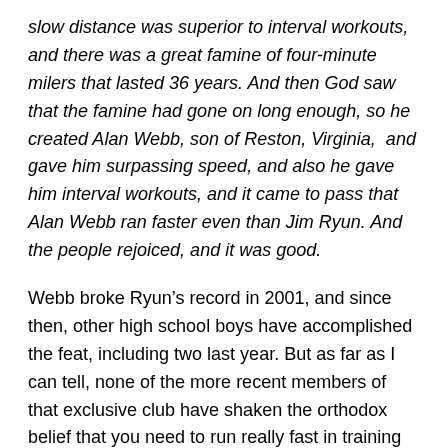slow distance was superior to interval workouts, and there was a great famine of four-minute milers that lasted 36 years. And then God saw that the famine had gone on long enough, so he created Alan Webb, son of Reston, Virginia,  and gave him surpassing speed, and also he gave him interval workouts, and it came to pass that Alan Webb ran faster even than Jim Ryun. And the people rejoiced, and it was good.
Webb broke Ryun’s record in 2001, and since then, other high school boys have accomplished the feat, including two last year. But as far as I can tell, none of the more recent members of that exclusive club have shaken the orthodox belief that you need to run really fast in training (intervals) to run really fast in races. No one these days would advocate day after day of 20 x 400 (a la Ryun), but